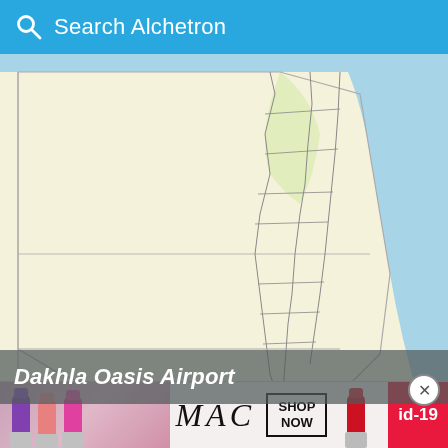Search Alchetron
[Figure (map): Map of Egypt showing regional boundaries, Nile River in blue on the right side, and surrounding desert regions in pale yellow. The map shows administrative divisions of Egypt with road/boundary lines.]
Dakhla Oasis Airport
[Figure (photo): Partial view of a person with dark curly hair, bottom portion of image cut off. An advertisement for MAC cosmetics is visible at the bottom with lipsticks in purple, pink, and red colors. A close button (X) appears in the upper right. An 'id-19' label in red is at the far right of the ad.]